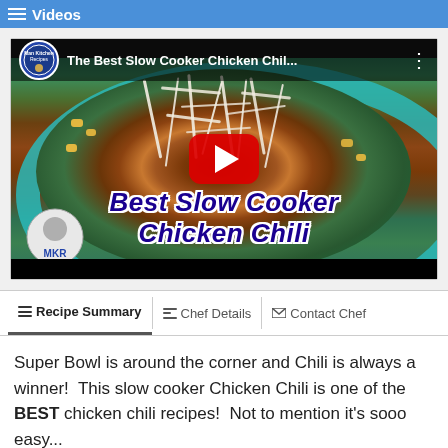Videos
[Figure (screenshot): YouTube video thumbnail for 'The Best Slow Cooker Chicken Chili' by Man Kitchen Recipes (MKR). Shows a bowl of chicken chili with corn, beans, and shredded cheese on top. Has a red YouTube play button in the center. Overlay text reads 'Best Slow Cooker Chicken Chili' in bold dark blue italic with white outline.]
Recipe Summary
Chef Details
Contact Chef
Super Bowl is around the corner and Chili is always a winner!  This slow cooker Chicken Chili is one of the BEST chicken chili recipes!  Not to mention it's sooo easy...